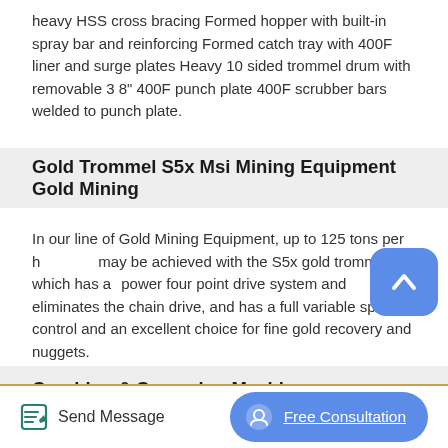heavy HSS cross bracing Formed hopper with built-in spray bar and reinforcing Formed catch tray with 400F liner and surge plates Heavy 10 sided trommel drum with removable 3 8" 400F punch plate 400F scrubber bars welded to punch plate.
Gold Trommel S5x Msi Mining Equipment Gold Mining
In our line of Gold Mining Equipment, up to 125 tons per hour may be achieved with the S5x gold trommel, which has a power four point drive system and eliminates the chain drive, and has a full variable speed control and an excellent choice for fine gold recovery and nuggets.
Crushing & Screening Machines Beneficiation Plant For Ores
Send Message
Free Consultation